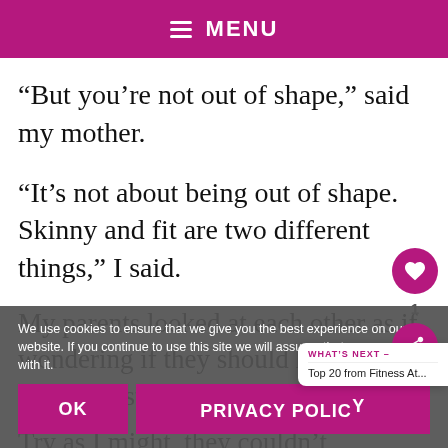MENU
“But you’re not out of shape,” said my mother.
“It’s not about being out of shape. Skinny and fit are two different things,” I said.
My parents looked at each other as if wondering if they should have called a priest instead.
We use cookies to ensure that we give you the best experience on our website. If you continue to use this site we will assume that you are happy with it.
Try as I might, they couldn’t
WHAT’S NEXT –
Top 20 from Fitness At...